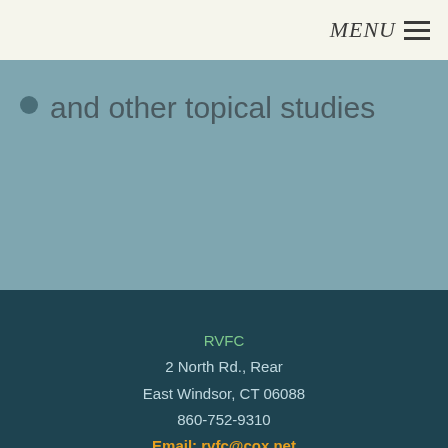MENU ☰
and other topical studies
RVFC
2 North Rd., Rear
East Windsor, CT 06088
860-752-9310
Email: rvfc@cox.net
Equipping People To Be Full-Grown Followers Christ
[Figure (logo): Facebook logo icon — white 'f' on rounded square light grey background]